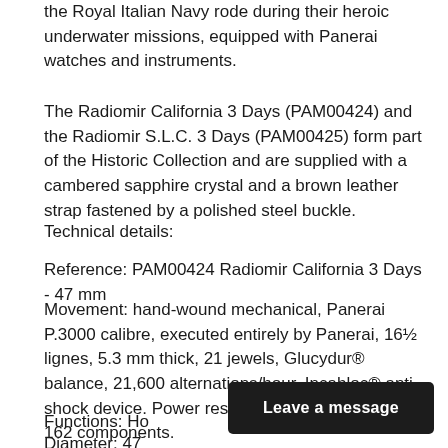the Royal Italian Navy rode during their heroic underwater missions, equipped with Panerai watches and instruments.
The Radiomir California 3 Days (PAM00424) and the Radiomir S.L.C. 3 Days (PAM00425) form part of the Historic Collection and are supplied with a cambered sapphire crystal and a brown leather strap fastened by a polished steel buckle.
Technical details:
Reference: PAM00424 Radiomir California 3 Days - 47 mm
Movement: hand-wound mechanical, Panerai P.3000 calibre, executed entirely by Panerai, 16½ lignes, 5.3 mm thick, 21 jewels, Glucydur® balance, 21,600 alternations/hour. Incabloc® anti-shock device. Power reserve 3 days, two barrels. 162 components.
Functions: Ho...
Diameter: 47...
[Figure (screenshot): Dark overlay button with text 'Leave a message']